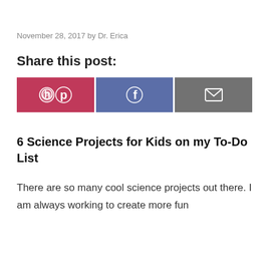November 28, 2017 by Dr. Erica
Share this post:
[Figure (infographic): Three social share buttons: Pinterest (red/pink background with Pinterest logo), Facebook (blue-grey background with Facebook logo), and Email (dark grey background with envelope icon)]
6 Science Projects for Kids on my To-Do List
There are so many cool science projects out there. I am always working to create more fun